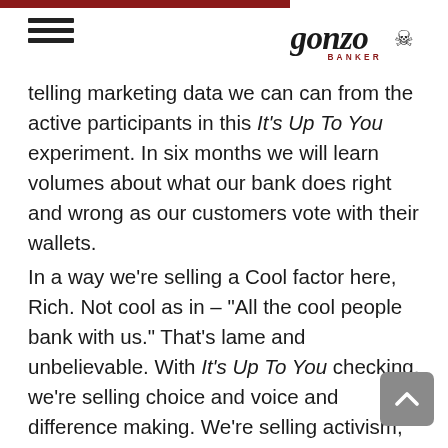Gonzo Banker
telling marketing data we can can from the active participants in this It's Up To You experiment. In six months we will learn volumes about what our bank does right and wrong as our customers vote with their wallets.
In a way we're selling a Cool factor here, Rich. Not cool as in – "All the cool people bank with us." That's lame and unbelievable. With It's Up To You checking, we're selling choice and voice and difference making. We're selling activism, autonomous influence and collective power. We're selling what my generation is buying in